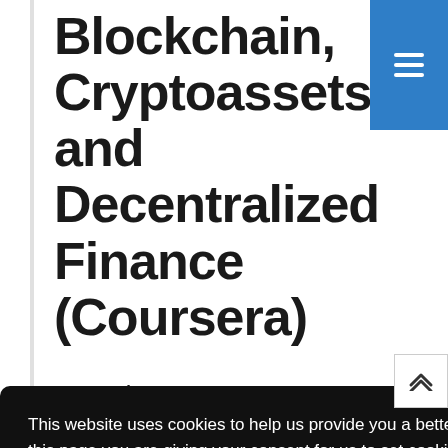Blockchain, Cryptoassets, and Decentralized Finance (Coursera)
Aug 29th 2022
This website uses cookies to help us provide you a better experience. By clicking any link on this page you are giving your consent for us to set cookies.  Learn more
Got it!